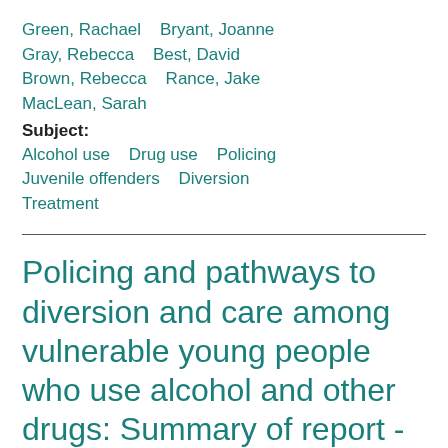Green, Rachael   Bryant, Joanne
Gray, Rebecca   Best, David
Brown, Rebecca   Rance, Jake
MacLean, Sarah
Subject:
Alcohol use   Drug use   Policing
Juvenile offenders   Diversion
Treatment
Policing and pathways to diversion and care among vulnerable young people who use alcohol and other drugs: Summary of report - Research bulletin